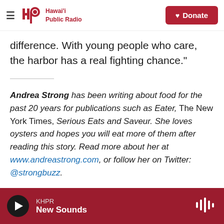[Figure (logo): Hawai'i Public Radio logo with hamburger menu and red Donate button in navigation bar]
difference. With young people who care, the harbor has a real fighting chance."
Andrea Strong has been writing about food for the past 20 years for publications such as Eater, The New York Times, Serious Eats and Saveur. She loves oysters and hopes you will eat more of them after reading this story. Read more about her at www.andreastrong.com, or follow her on Twitter: @strongbuzz.
KHPR New Sounds